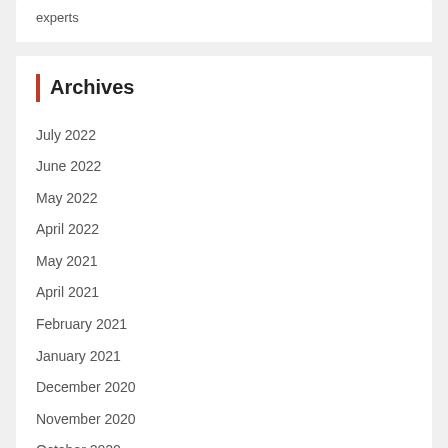experts
Archives
July 2022
June 2022
May 2022
April 2022
May 2021
April 2021
February 2021
January 2021
December 2020
November 2020
October 2020
September 2020
August 2020